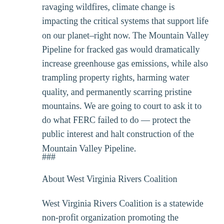ravaging wildfires, climate change is impacting the critical systems that support life on our planet–right now. The Mountain Valley Pipeline for fracked gas would dramatically increase greenhouse gas emissions, while also trampling property rights, harming water quality, and permanently scarring pristine mountains. We are going to court to ask it to do what FERC failed to do — protect the public interest and halt construction of the Mountain Valley Pipeline.
###
About West Virginia Rivers Coalition
West Virginia Rivers Coalition is a statewide non-profit organization promoting the conservation and restoration of West Virginia's exceptional rivers and streams. Since 1989, it has served as the statewide voice for clean, healthy waters for all to use and enjoy. For